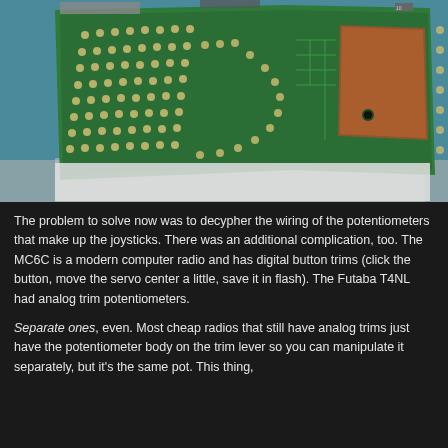[Figure (photo): Close-up photograph of the back side of a green printed circuit board (PCB), showing solder joints, circuit traces, and a large copper ground plane area. The board is angled and photographed against a teal/blue background.]
The problem to solve now was to decypher the wiring of the potentiometers that make up the joysticks. There was an additional complication, too. The MC6C is a modern computer radio and has digital button trims (click the button, move the servo center a little, save it in flash). The Futaba T4NL had analog trim potentiometers.
Separate ones, even. Most cheap radios that still have analog trims just have the potentiometer body on the trim lever so you can manipulate it separately, but it's the same pot. This thing,